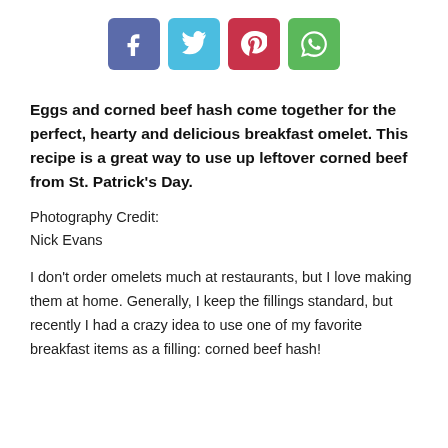[Figure (infographic): Four social media share buttons: Facebook (purple-blue), Twitter (light blue), Pinterest (red), WhatsApp (green), each as a square icon button with white icons.]
Eggs and corned beef hash come together for the perfect, hearty and delicious breakfast omelet. This recipe is a great way to use up leftover corned beef from St. Patrick's Day.
Photography Credit:
Nick Evans
I don’t order omelets much at restaurants, but I love making them at home. Generally, I keep the fillings standard, but recently I had a crazy idea to use one of my favorite breakfast items as a filling: corned beef hash!